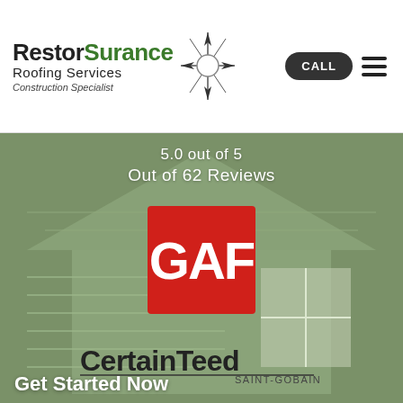[Figure (logo): RestorSurance Roofing Services Construction Specialist logo with compass rose icon]
5.0 out of 5
Out of 62 Reviews
[Figure (logo): GAF logo - red square with white bold GAF text]
[Figure (logo): CertainTeed SAINT-GOBAIN logo - black text on white/transparent background with underline]
[Figure (logo): Owens Corning logo - red square with white arc and OWENS CORNING text]
Get Started Now